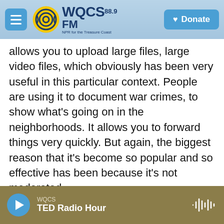WQCS 88.9 FM — NPR for the Treasure Coast | Donate
allows you to upload large files, large video files, which obviously has been very useful in this particular context. People are using it to document war crimes, to show what's going on in the neighborhoods. It allows you to forward things very quickly. But again, the biggest reason that it's become so popular and so effective has been because it's not moderated.
And one of the kind of crazy things for those of us who've covered this space for a long time is that it was the app of choice for terrorists for a very long time - for ISIS, for the Islamic State in Syria and
WQCS | TED Radio Hour